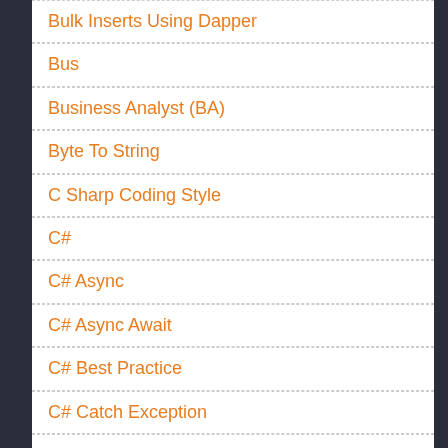Bulk Inserts Using Dapper
Bus
Business Analyst (BA)
Byte To String
C Sharp Coding Style
C#
C# Async
C# Async Await
C# Best Practice
C# Catch Exception
C# Delete Bin And Obj Folder
C# Education
C1
Cà Chua Ke
Các Định Nghĩa Cần Nắm Vững